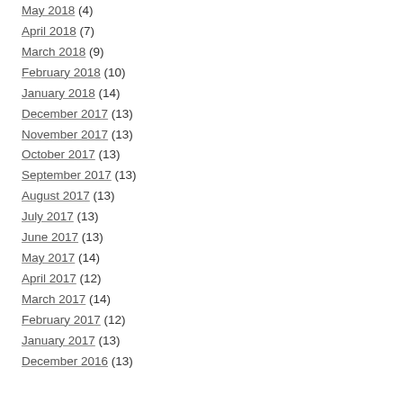May 2018 (4)
April 2018 (7)
March 2018 (9)
February 2018 (10)
January 2018 (14)
December 2017 (13)
November 2017 (13)
October 2017 (13)
September 2017 (13)
August 2017 (13)
July 2017 (13)
June 2017 (13)
May 2017 (14)
April 2017 (12)
March 2017 (14)
February 2017 (12)
January 2017 (13)
December 2016 (13)